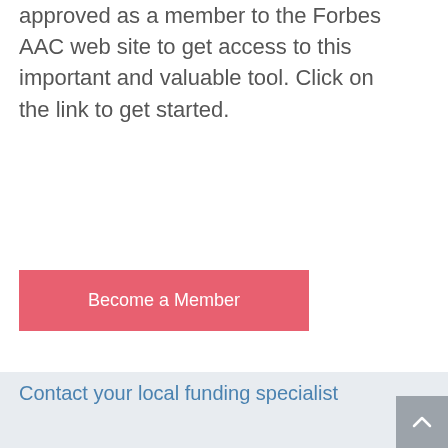approved as a member to the Forbes AAC web site to get access to this important and valuable tool. Click on the link to get started.
Become a Member
Contact your local funding specialist
Forbes AAC has a fully staffed funding team ready to assist you. We dedicate associates to specific geographic regions so that you can contact a local expert throughout the funding process.
By dedicating our experts on a